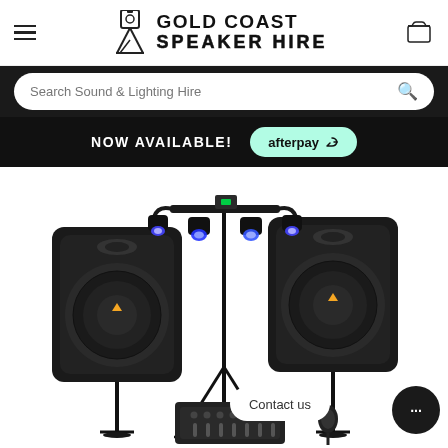Gold Coast Speaker Hire — site header with hamburger menu, logo, and cart icon
Search Sound & Lighting Hire
NOW AVAILABLE! afterpay
[Figure (photo): Product photo showing two black Behringer speakers on stands, a multi-head LED lighting bar on a tripod stand in the centre, a mixing desk, and a microphone in the foreground against a white background. A 'Contact us' chat bubble appears bottom-right.]